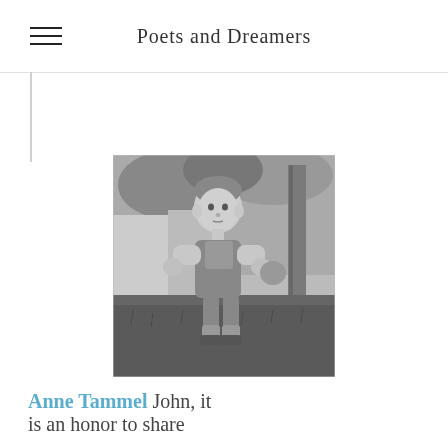Poets and Dreamers
[Figure (photo): Black and white photograph of a young toddler boy standing on grass outdoors, wearing suspenders and holding something, with trees in the background.]
Anne Tammel  John, it is an honor to share